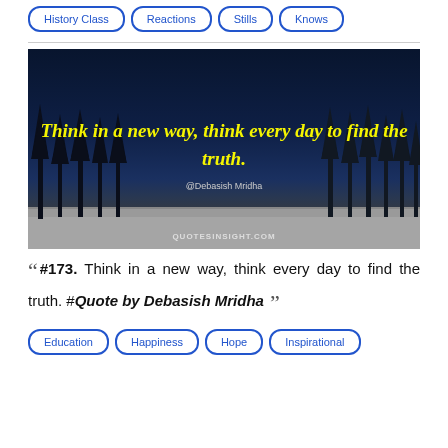History Class
Reactions
Stills
Knows
[Figure (photo): Dark night landscape with snow on the ground and bare tree silhouettes against a dark blue sky, with yellow italic bold text overlay reading: Think in a new way, think every day to find the truth. Attribution: @Debasish Mridha. Watermark: QUOTESINSIGHT.COM]
““ #173. Think in a new way, think every day to find the truth. #Quote by Debasish Mridha ””
Education
Happiness
Hope
Inspirational